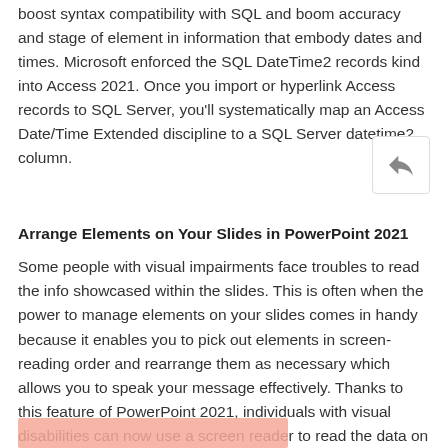boost syntax compatibility with SQL and boom accuracy and stage of element in information that embody dates and times. Microsoft enforced the SQL DateTime2 records kind into Access 2021. Once you import or hyperlink Access records to SQL Server, you'll systematically map an Access Date/Time Extended discipline to a SQL Server datetime2 column.
Arrange Elements on Your Slides in PowerPoint 2021
Some people with visual impairments face troubles to read the info showcased within the slides. This is often when the power to manage elements on your slides comes in handy because it enables you to pick out elements in screen-reading order and rearrange them as necessary which allows you to speak your message effectively. Thanks to this feature of PowerPoint 2021, individuals with visual disabilities can now use a screen reader to read the data on the slide.
[Figure (other): Pink/salmon colored rectangle at the bottom of the page]